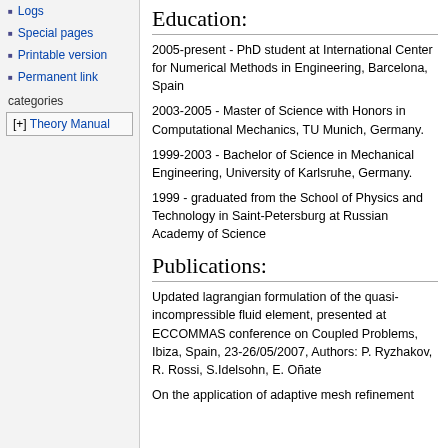Logs
Special pages
Printable version
Permanent link
categories
[+] Theory Manual
Education:
2005-present - PhD student at International Center for Numerical Methods in Engineering, Barcelona, Spain
2003-2005 - Master of Science with Honors in Computational Mechanics, TU Munich, Germany.
1999-2003 - Bachelor of Science in Mechanical Engineering, University of Karlsruhe, Germany.
1999 - graduated from the School of Physics and Technology in Saint-Petersburg at Russian Academy of Science
Publications:
Updated lagrangian formulation of the quasi-incompressible fluid element, presented at ECCOMMAS conference on Coupled Problems, Ibiza, Spain, 23-26/05/2007, Authors: P. Ryzhakov, R. Rossi, S.Idelsohn, E. Oñate
On the application of adaptive mesh refinement